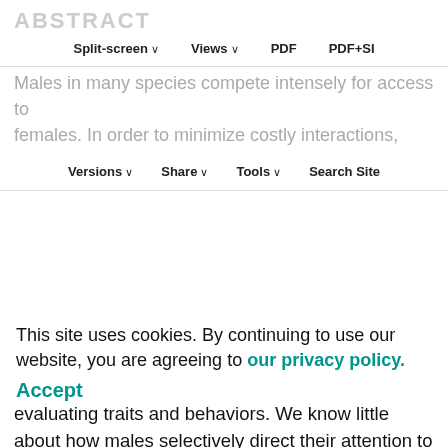ABSTRACT
Split-screen | Views | PDF | PDF+SI
Versions | Share | Tools | Search Site
Males in many species compete intensely for access to females. In order to minimize costly interactions, they can assess their rivals' competitive abilities by evaluating traits and behaviors. We know little about how males selectively direct their attention to make these assessments. Using Indian peafowl (Pavo cristatus) as a model system, we examined how males visually assess their competitors by continuously tracking the gaze of freely moving peacocks during the mating season. When assessing rivals, peacocks selectively gazed toward the lower display regions of their rivals, including the lower eyespot and fishtail feathers, dense feathers, body and wings. Their attention was modified based on the rivals' behavior such that they spent more time gazing at actively displaying peacocks. The gaze patterns of males assessing rivals were broadly
This site uses cookies. By continuing to use our website, you are agreeing to our privacy policy. Accept